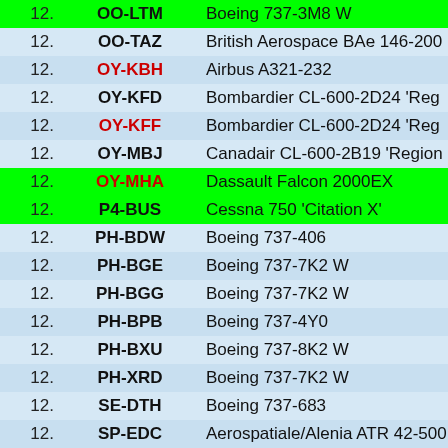| # | Registration | Aircraft |
| --- | --- | --- |
| 12. | OO-LTM | Boeing 737-3M8 W |
| 12. | OO-TAZ | British Aerospace BAe 146-200 |
| 12. | OY-KBH | Airbus A321-232 |
| 12. | OY-KFD | Bombardier CL-600-2D24 'Reg |
| 12. | OY-KFF | Bombardier CL-600-2D24 'Reg |
| 12. | OY-MBJ | Canadair CL-600-2B19 'Region |
| 12. | OY-MHA | Dassault Falcon 2000EX |
| 12. | P4-BUS | Cessna 750 'Citation X' |
| 12. | PH-BDW | Boeing 737-406 |
| 12. | PH-BGE | Boeing 737-7K2 W |
| 12. | PH-BGG | Boeing 737-7K2 W |
| 12. | PH-BPB | Boeing 737-4Y0 |
| 12. | PH-BXU | Boeing 737-8K2 W |
| 12. | PH-XRD | Boeing 737-7K2 W |
| 12. | SE-DTH | Boeing 737-683 |
| 12. | SP-EDC | Aerospatiale/Alenia ATR 42-500 |
| 12. | SP-KWF | British Aerospace BAe 3202 'Je |
| 12. | SP-LDG | Embraer 170LR |